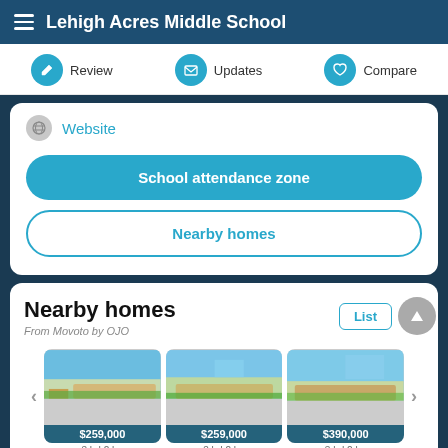Lehigh Acres Middle School
Review | Updates | Compare
Website
School attendance zone
Nearby homes
Nearby homes
From Movoto by OJO
[Figure (photo): House photo with price $259,000]
[Figure (photo): House photo with price $259,000]
[Figure (photo): House photo with price $390,000]
3 bd 2 ba | 3 bd 2 ba | 3 bd 2 ba